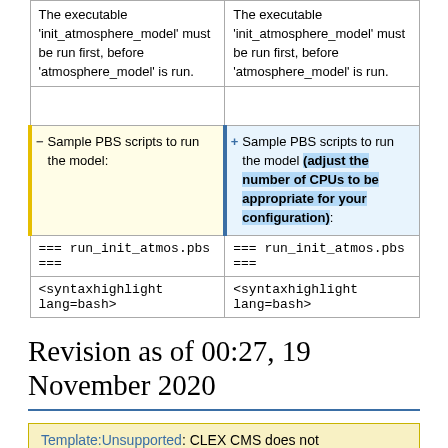| (deleted) | (added) |
| --- | --- |
| The executable 'init_atmosphere_model' must be run first, before 'atmosphere_model' is run. | The executable 'init_atmosphere_model' must be run first, before 'atmosphere_model' is run. |
| (empty) | (empty) |
| Sample PBS scripts to run the model: | Sample PBS scripts to run the model (adjust the number of CPUs to be appropriate for your configuration): |
| === run_init_atmos.pbs === | === run_init_atmos.pbs === |
| <syntaxhighlight lang=bash> | <syntaxhighlight lang=bash> |
Revision as of 00:27, 19 November 2020
Template:Unsupported: CLEX CMS does not